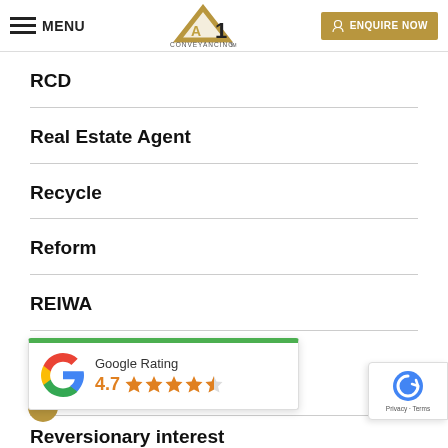MENU | A1 CONVEYANCING | ENQUIRE NOW
RCD
Real Estate Agent
Recycle
Reform
REIWA
Rental
[Figure (infographic): Google Rating popup showing 4.7 stars out of 5 with Google logo and green top bar]
[Figure (infographic): reCAPTCHA badge with Privacy and Terms text]
Reversionary interest